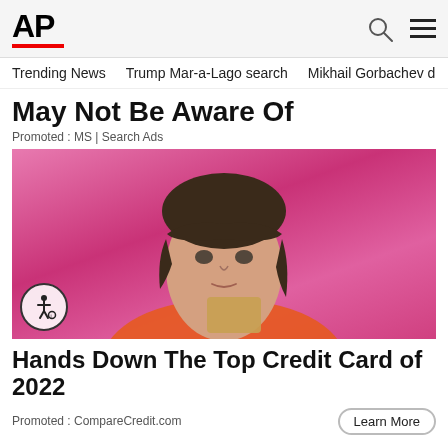AP
Trending News   Trump Mar-a-Lago search   Mikhail Gorbachev d
May Not Be Aware Of
Promoted : MS | Search Ads
[Figure (photo): Young woman with bangs holding a gold/tan card near her face, against a pink background, wearing an orange top]
Hands Down The Top Credit Card of 2022
Promoted : CompareCredit.com
Learn More